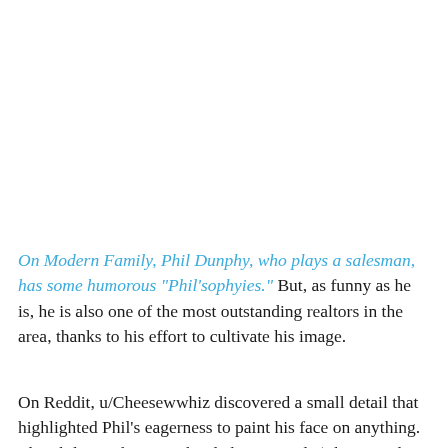On Modern Family, Phil Dunphy, who plays a salesman, has some humorous “Phil’sophyies.” But, as funny as he is, he is also one of the most outstanding realtors in the area, thanks to his effort to cultivate his image.
On Reddit, u/Cheesewwhiz discovered a small detail that highlighted Phil's eagerness to paint his face on anything. The Phil Dunphy water bottle has arrived! (They're at his open houses). “they penned Redditors adored this minor detail